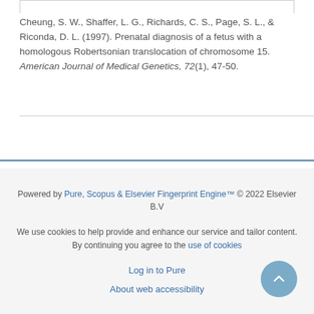Cheung, S. W., Shaffer, L. G., Richards, C. S., Page, S. L., & Riconda, D. L. (1997). Prenatal diagnosis of a fetus with a homologous Robertsonian translocation of chromosome 15. American Journal of Medical Genetics, 72(1), 47-50.
Powered by Pure, Scopus & Elsevier Fingerprint Engine™ © 2022 Elsevier B.V
We use cookies to help provide and enhance our service and tailor content. By continuing you agree to the use of cookies
Log in to Pure
About web accessibility